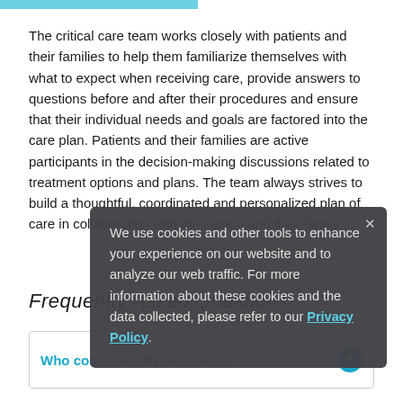The critical care team works closely with patients and their families to help them familiarize themselves with what to expect when receiving care, provide answers to questions before and after their procedures and ensure that their individual needs and goals are factored into the care plan. Patients and their families are active participants in the decision-making discussions related to treatment options and plans. The team always strives to build a thoughtful, coordinated and personalized plan of care in collaboration with the patient and their family.
Frequently Asked Questions
We use cookies and other tools to enhance your experience on our website and to analyze our web traffic. For more information about these cookies and the data collected, please refer to our Privacy Policy.
Who comprises the ICU team?